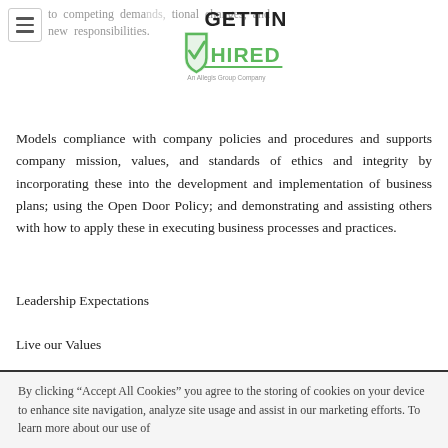to competing demands, transitional changes, and new responsibilities.
[Figure (logo): Getting Hired logo — green and black text with a checkmark/shield graphic. Tagline: An Allegis Group Company]
Models compliance with company policies and procedures and supports company mission, values, and standards of ethics and integrity by incorporating these into the development and implementation of business plans; using the Open Door Policy; and demonstrating and assisting others with how to apply these in executing business processes and practices.
Leadership Expectations
Live our Values
By clicking “Accept All Cookies” you agree to the storing of cookies on your device to enhance site navigation, analyze site usage and assist in our marketing efforts. To learn more about our use of